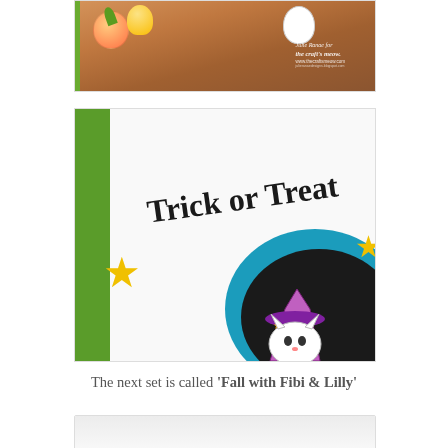[Figure (photo): Close-up photo of a craft card on brown kraft paper background showing peaches/fruit and a small white cat illustration, with a watermark reading 'Julie Ranae for the craft's meow. www.thecraftsmeow.com']
[Figure (photo): Close-up photo of a Halloween craft card showing 'Trick or Treat' stamped text in whimsical font, a yellow star embellishment, a teal/black oval, and a cat wearing a purple witch hat with orange stars, on a white card with green diagonal background strip.]
The next set is called 'Fall with Fibi & Lilly'
[Figure (photo): Partial view of another craft card at the bottom of the page (cropped).]